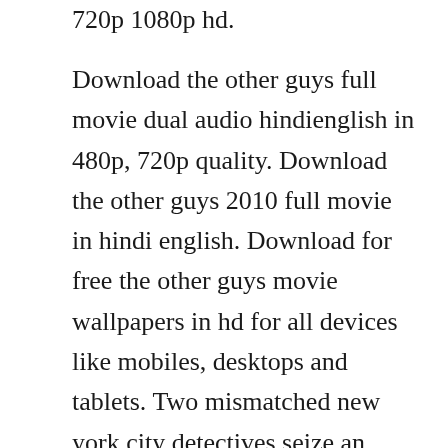720p 1080p hd.
Download the other guys full movie dual audio hindienglish in 480p, 720p quality. Download the other guys 2010 full movie in hindi english. Download for free the other guys movie wallpapers in hd for all devices like mobiles, desktops and tablets. Two mismatched new york city detectives seize an opportunity to step up like the citys top cops, whom they idolize, only things dont quite go as planned. Terry hoitzs past mistakes in the line of duty and allen gambles reluctance to